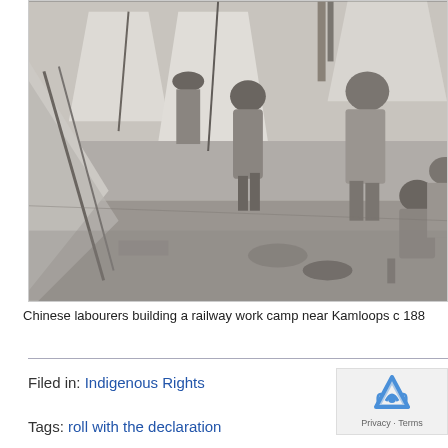[Figure (photo): Black and white historical photograph of Chinese labourers building a railway work camp near Kamloops circa 1880s. Several men are visible among canvas tents, with tools and supplies around them.]
Chinese labourers building a railway work camp near Kamloops c 188
Filed in: Indigenous Rights
Tags: roll with the declaration